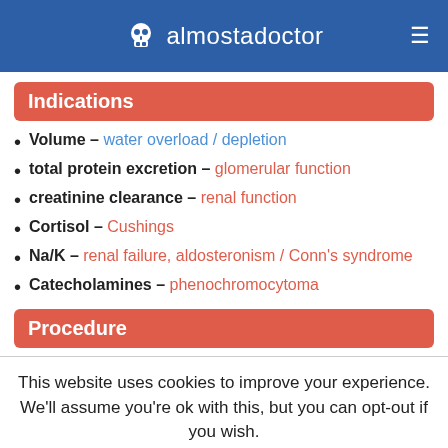almostadoctor
Indications
Volume – water overload / depletion
total protein excretion – glomerular function
creatinine clearance – renal function
Cortisol – Cushings
Na/K – renal failure, aldosteronism / Conn's syndrome
Catecholamines – phenochromocytoma
Procedure
This website uses cookies to improve your experience. We'll assume you're ok with this, but you can opt-out if you wish.